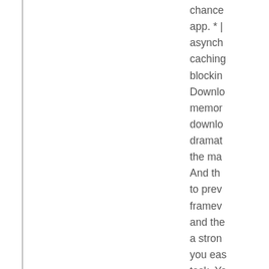chance app. * | asynch caching blockin Downlo memor downlo dramat the ma And th to prev framew and the a stron you eas task. Yo retrivin anymo